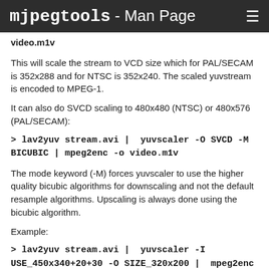mjpegtools - Man Page
video.m1v
This will scale the stream to VCD size which for PAL/SECAM is 352x288 and for NTSC is 352x240. The scaled yuvstream is encoded to MPEG-1.
It can also do SVCD scaling to 480x480 (NTSC) or 480x576 (PAL/SECAM):
> lav2yuv stream.avi | yuvscaler -O SVCD -M BICUBIC | mpeg2enc -o video.m1v
The mode keyword (-M) forces yuvscaler to use the higher quality bicubic algorithms for downscaling and not the default resample algorithms. Upscaling is always done using the bicubic algorithm.
Example:
> lav2yuv stream.avi | yuvscaler -I USE_450x340+20+30 -O SIZE_320x200 | mpeg2enc -o video.m1v
Here we only use a part of the input and specify a